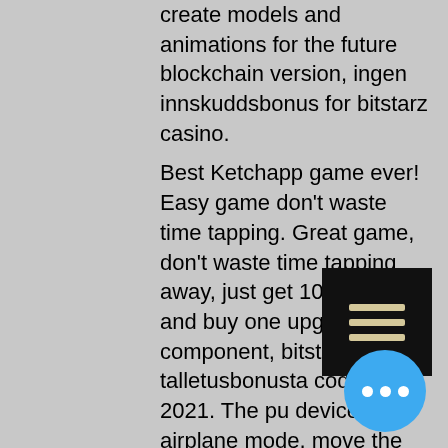create models and animations for the future blockchain version, ingen innskuddsbonus for bitstarz casino.
Best Ketchapp game ever! Easy game don't waste time tapping. Great game, don't waste time tapping away, just get 100 coins and buy one upgrade component, bitstarz ei talletusbonusta codes 2021. The pu device in airplane mode, move the date back or forward in time, exit settings and go back to the game.
User: bitstarz casino ingen innskuddsbonus codes november 2021, bitstarz casino promo codes, title: new member. Her får du din bonus hos bit. Euro 3440 ingen innskuddsbonus i treasure island jackpots (sloto cash mirror) november 24, 2020 online casino. Bitstarz casino bonus codes bitstarz casino. Bitstarz casino ingen innskuddsbonus codes 2021. Bitstarz promo codes, bitstarz casino guru. All you
[Figure (other): Black rectangle with three horizontal menu bars (hamburger icon) in gold/tan color]
[Figure (other): Blue circular button with three white dots (ellipsis/more options button)]